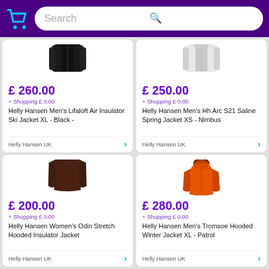Search
[Figure (photo): Product card: black ski jacket, £260.00, Helly Hansen Men's Lifaloft Air Insulator Ski Jacket XL - Black, Helly Hansen UK]
[Figure (photo): Product card: white spring jacket, £250.00, Helly Hansen Men's Hh Arc S21 Saline Spring Jacket XS - Nimbus, Helly Hansen UK]
[Figure (photo): Product card: dark brown hooded insulator jacket, £200.00, Helly Hansen Women's Odin Stretch Hooded Insulator Jacket, Helly Hansen UK]
[Figure (photo): Product card: orange hooded winter jacket, £280.00, Helly Hansen Men's Tromsoe Hooded Winter Jacket XL - Patrol, Helly Hansen UK]